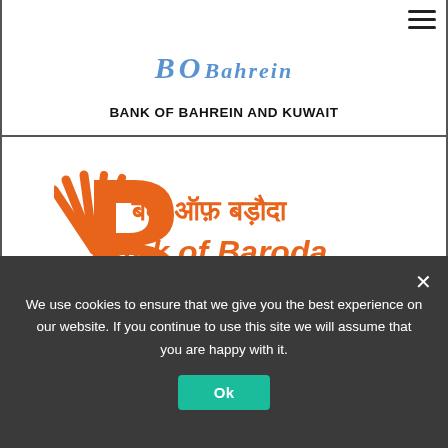[Figure (logo): Bank of Bahrein and Kuwait logo (partially visible, blue text)]
BANK OF BAHREIN AND KUWAIT
[Figure (logo): Bank of Baroda logo with orange B symbol, Hindi text 'बैंक ऑफ़ बड़ौदा', 'Bank of Baroda' in orange, with Vijaya Bank and Dena Bank sub-logos]
BANK OF BARODA
We use cookies to ensure that we give you the best experience on our website. If you continue to use this site we will assume that you are happy with it.
Ok